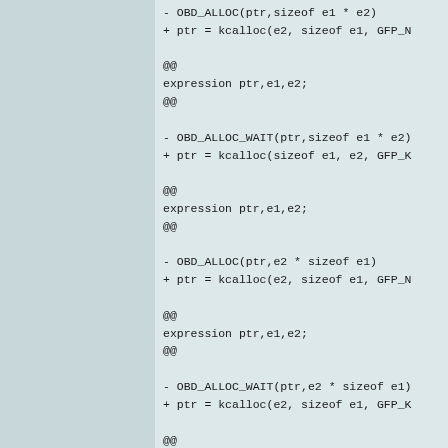- OBD_ALLOC(ptr,sizeof e1 * e2)
+ ptr = kcalloc(e2, sizeof e1, GFP_N

@@
expression ptr,e1,e2;
@@

- OBD_ALLOC_WAIT(ptr,sizeof e1 * e2)
+ ptr = kcalloc(sizeof e1, e2, GFP_K

@@
expression ptr,e1,e2;
@@

- OBD_ALLOC(ptr,e2 * sizeof e1)
+ ptr = kcalloc(e2, sizeof e1, GFP_N

@@
expression ptr,e1,e2;
@@

- OBD_ALLOC_WAIT(ptr,e2 * sizeof e1)
+ ptr = kcalloc(e2, sizeof e1, GFP_K

@@
expression ptr,e2;
type t;
@@

- OBD_ALLOC(ptr,sizeof (t) * e2)